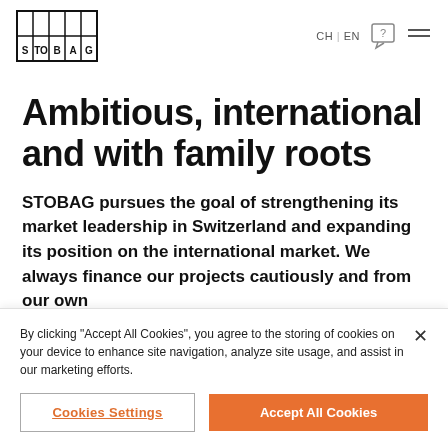[Figure (logo): STOBAG logo — a 2-row × 5-column grid of cells spelling S T O B A G (top row empty, bottom row letters)]
CH | EN [chat icon] [hamburger menu]
Ambitious, international and with family roots
STOBAG pursues the goal of strengthening its market leadership in Switzerland and expanding its position on the international market. We always finance our projects cautiously and from our own
By clicking “Accept All Cookies”, you agree to the storing of cookies on your device to enhance site navigation, analyze site usage, and assist in our marketing efforts.
Cookies Settings
Accept All Cookies